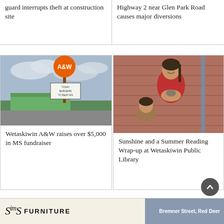guard interrupts theft at construction site
Highway 2 near Glen Park Road causes major diversions
[Figure (photo): A&W restaurant with sign reading TODAY BURGERS TO BEAT MS]
Wetaskiwin A&W raises over $5,000 in MS fundraiser
[Figure (photo): Girl in red shirt smiling and holding small animals, with another child beside her, in front of brick wall]
Sunshine and a Summer Reading Wrap-up at Wetaskiwin Public Library
[Figure (photo): Sims Furniture advertisement with two people sitting on a couch, text: Bremner Street, Red Deer]